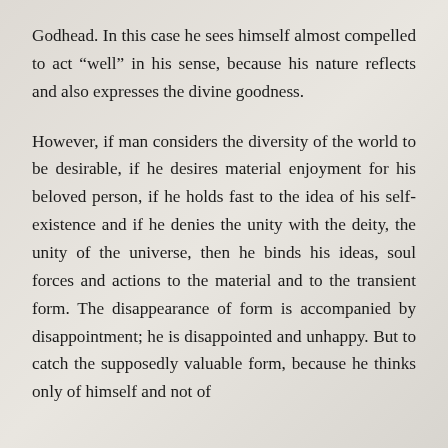Godhead. In this case he sees himself almost compelled to act “well” in his sense, because his nature reflects and also expresses the divine goodness.
However, if man considers the diversity of the world to be desirable, if he desires material enjoyment for his beloved person, if he holds fast to the idea of his self-existence and if he denies the unity with the deity, the unity of the universe, then he binds his ideas, soul forces and actions to the material and to the transient form. The disappearance of form is accompanied by disappointment; he is disappointed and unhappy. But to catch the supposedly valuable form, because he thinks only of himself and not of